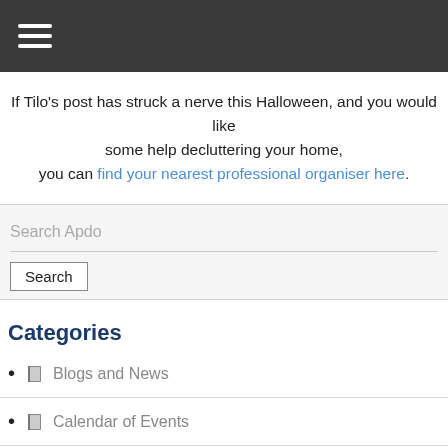☰ (hamburger menu navigation bar)
If Tilo's post has struck a nerve this Halloween, and you would like some help decluttering your home, you can find your nearest professional organiser here.
Search Apdo
Search
Categories
Blogs and News
Calendar of Events
Newsletters